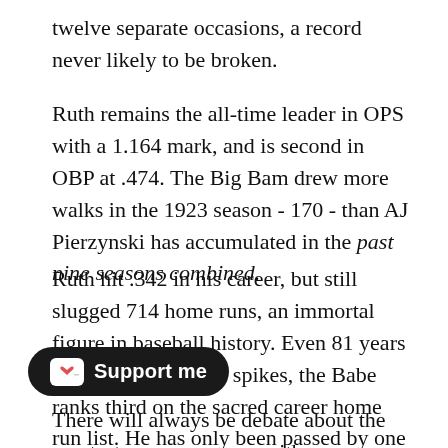twelve separate occasions, a record never likely to be broken.
Ruth remains the all-time leader in OPS with a 1.164 mark, and is second in OBP at .474. The Big Bam drew more walks in the 1923 season - 170 - than AJ Pierzynski has accumulated in the past nine seasons combined.
Ruth hit .342 in his career, but still slugged 714 home runs, an immortal figure in baseball history. Even 81 years after hanging up his spikes, the Babe ranks third on the sacred career home run list. He has only been passed by one man not under suspicion of illegal chemical enhancement.
There will always be debate about the greatest with some people citing obscure formulas as rationale for Willie Mays, Ted